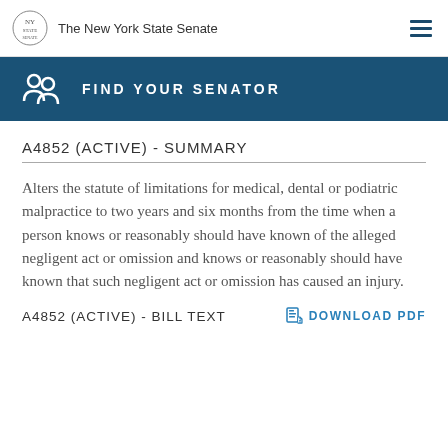The New York State Senate
[Figure (infographic): Find Your Senator banner with icon and text on dark teal background]
A4852 (ACTIVE) - SUMMARY
Alters the statute of limitations for medical, dental or podiatric malpractice to two years and six months from the time when a person knows or reasonably should have known of the alleged negligent act or omission and knows or reasonably should have known that such negligent act or omission has caused an injury.
A4852 (ACTIVE) - BILL TEXT
DOWNLOAD PDF